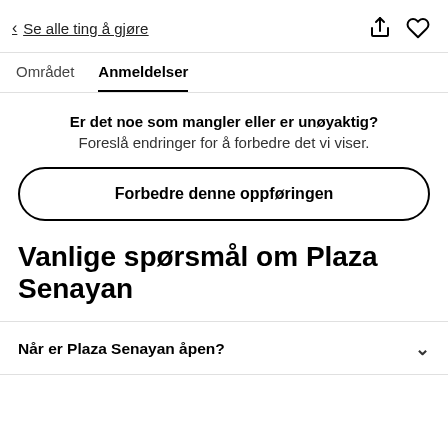< Se alle ting å gjøre
Området   Anmeldelser
Er det noe som mangler eller er unøyaktig? Foreslå endringer for å forbedre det vi viser.
Forbedre denne oppføringen
Vanlige spørsmål om Plaza Senayan
Når er Plaza Senayan åpen?